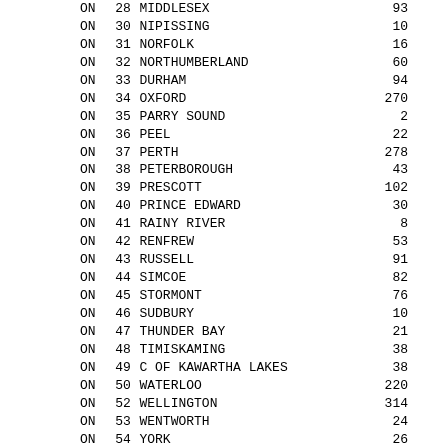| Pr | CN | LANG_1_ABBR | Count |
| --- | --- | --- | --- |
| ON | 28 | MIDDLESEX | 93 |
| ON | 30 | NIPISSING | 10 |
| ON | 31 | NORFOLK | 16 |
| ON | 32 | NORTHUMBERLAND | 60 |
| ON | 33 | DURHAM | 94 |
| ON | 34 | OXFORD | 270 |
| ON | 35 | PARRY SOUND | 2 |
| ON | 36 | PEEL | 22 |
| ON | 37 | PERTH | 278 |
| ON | 38 | PETERBOROUGH | 43 |
| ON | 39 | PRESCOTT | 102 |
| ON | 40 | PRINCE EDWARD | 30 |
| ON | 41 | RAINY RIVER | 8 |
| ON | 42 | RENFREW | 53 |
| ON | 43 | RUSSELL | 91 |
| ON | 44 | SIMCOE | 82 |
| ON | 45 | STORMONT | 76 |
| ON | 46 | SUDBURY | 10 |
| ON | 47 | THUNDER BAY | 21 |
| ON | 48 | TIMISKAMING | 38 |
| ON | 49 | C OF KAWARTHA LAKES | 38 |
| ON | 50 | WATERLOO | 220 |
| ON | 52 | WELLINGTON | 314 |
| ON | 53 | WENTWORTH | 24 |
| ON | 54 | YORK | 26 |
| ON | 05 | TOTAL | 3132 |
| Pr | CN | LANG_1_ABBR | Count |
| ---- | -- | -- | -------------------- | --------- |
| MB | 1 | EASTERN | 95 |
| MB | 2 | CENTRAL | 77 |